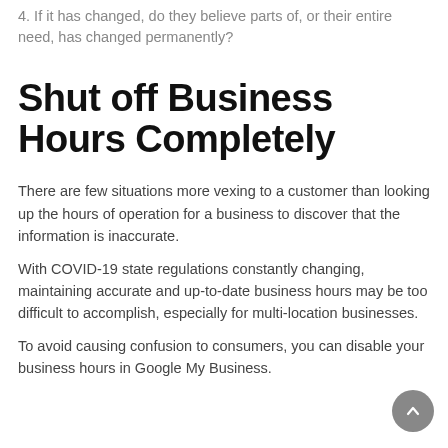4. If it has changed, do they believe parts of, or their entire need, has changed permanently?
Shut off Business Hours Completely
There are few situations more vexing to a customer than looking up the hours of operation for a business to discover that the information is inaccurate.
With COVID-19 state regulations constantly changing, maintaining accurate and up-to-date business hours may be too difficult to accomplish, especially for multi-location businesses.
To avoid causing confusion to consumers, you can disable your business hours in Google My Business.